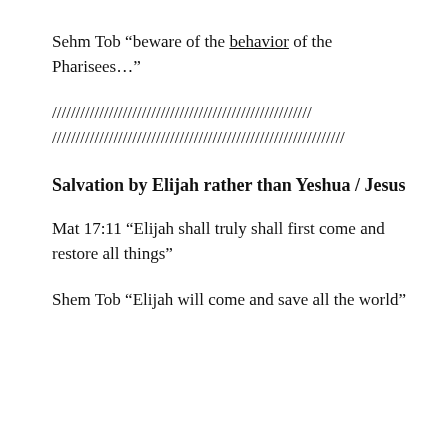Sehm Tob “beware of the behavior of the Pharisees…”
/////////////////////////////////////////////////////// /////////////////////////////////////////////////////// ///////
Salvation by Elijah rather than Yeshua / Jesus
Mat 17:11 “Elijah shall truly shall first come and restore all things”
Shem Tob “Elijah will come and save all the world”